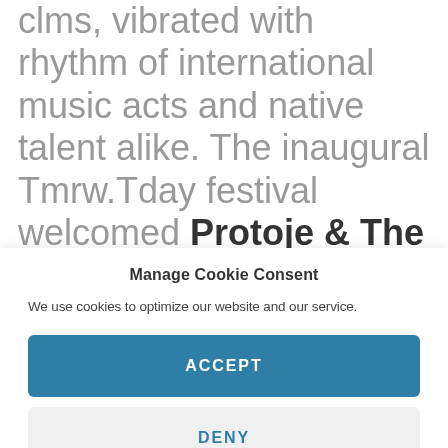clms, vibrated with rhythm of international music acts and native talent alike. The inaugural Tmrw.Tday festival welcomed Protoje & The Indiggnation, a surprise performance by the legendary Lee Scratch Perry, Teflon Zinc Fence & Yaadcore and the entire
Manage Cookie Consent
We use cookies to optimize our website and our service.
ACCEPT
DENY